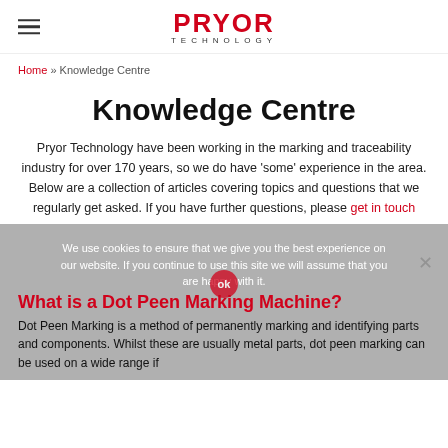PRYOR TECHNOLOGY
Home » Knowledge Centre
Knowledge Centre
Pryor Technology have been working in the marking and traceability industry for over 170 years, so we do have 'some' experience in the area. Below are a collection of articles covering topics and questions that we regularly get asked. If you have further questions, please get in touch
What is a Dot Peen Marking Machine?
We use cookies to ensure that we give you the best experience on our website. If you continue to use this site we will assume that you are happy with it.
Dot Peen Marking is a method of permanently marking and identifying parts and components. Whilst these are usually metal parts, dot peen marking can be used on a wide range if